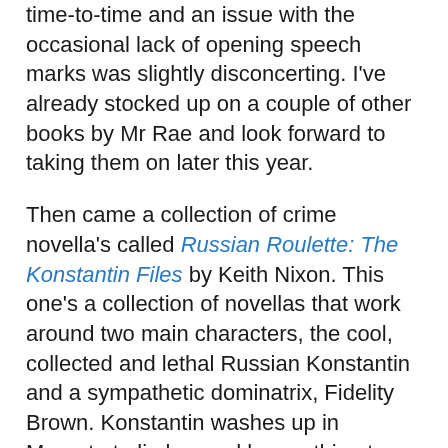time-to-time and an issue with the occasional lack of opening speech marks was slightly disconcerting. I've already stocked up on a couple of other books by Mr Rae and look forward to taking them on later this year.
Then came a collection of crime novella's called Russian Roulette: The Konstantin Files by Keith Nixon. This one's a collection of novellas that work around two main characters, the cool, collected and lethal Russian Konstantin and a sympathetic dominatrix, Fidelity Brown. Konstantin washes up in Margate to lie low and has nothing to lose. He encounters a local gang and deals with them in a quick and brutal fashion. They didn't stand a chance. Konstantin becomes involved with the lowlife of the local drug-scene and wipes it up with the ease with which a cleaner might mop a floor. Konstantin's life becomes complicated by the arrival of Fidelity Brown into her life. She needs help in dealing with some